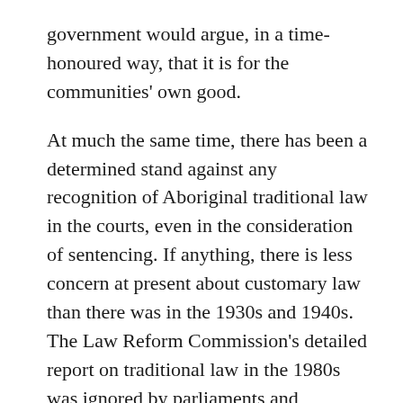government would argue, in a time-honoured way, that it is for the communities' own good.
At much the same time, there has been a determined stand against any recognition of Aboriginal traditional law in the courts, even in the consideration of sentencing. If anything, there is less concern at present about customary law than there was in the 1930s and 1940s. The Law Reform Commission's detailed report on traditional law in the 1980s was ignored by parliaments and politicians, who appreciated that most Australians have little understanding of, or sympathy for the idea of legal pluralism. The